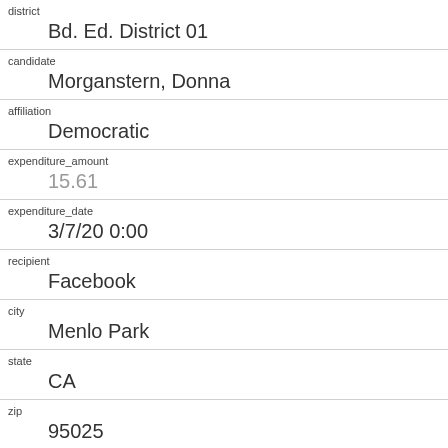| field | value |
| --- | --- |
| district | Bd. Ed. District 01 |
| candidate | Morganstern, Donna |
| affiliation | Democratic |
| expenditure_amount | 15.61 |
| expenditure_date | 3/7/20 0:00 |
| recipient | Facebook |
| city | Menlo Park |
| state | CA |
| zip | 95025 |
| expenditure_type | Advertising |